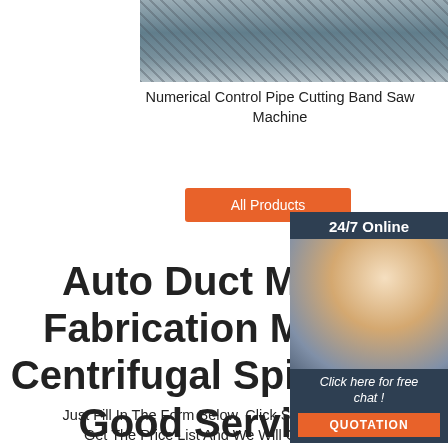[Figure (photo): Close-up photo of a numerical control pipe cutting band saw machine, showing metal cutting machinery with metallic surfaces.]
Numerical Control Pipe Cutting Band Saw Machine
[Figure (photo): Customer service representative wearing a headset, smiling, with 24/7 Online chat panel overlay including 'Click here for free chat!' and QUOTATION button.]
All Products
Auto Duct Making Fabrication Machine Centrifugal Spinning Good Service
Just Fill In The Form Below, Click Submit, You Will Get The Price List And We Will Contact You